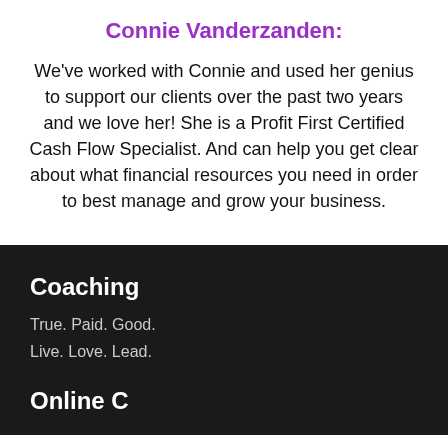Connie Vanderzanden:
We've worked with Connie and used her genius to support our clients over the past two years and we love her! She is a Profit First Certified Cash Flow Specialist. And can help you get clear about what financial resources you need in order to best manage and grow your business.
Coaching
True. Paid. Good.
Live. Love. Lead.
Online C...